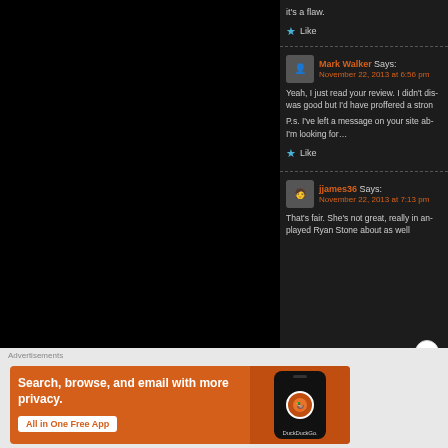it's a flaw.
★ Like
Mark Walker Says: November 22, 2013 at 6:56 pm
Yeah, I just read your review. I didn't dis... was good but I'd have proffered a stron...
P.s. I've left a message on your site ab... I'm looking for…
★ Like
jjames36 Says: November 22, 2013 at 7:13 pm
That's fair. She's not great, really in an... played Ryan Stone about as well...
Advertisements
[Figure (infographic): DuckDuckGo advertisement banner with orange background, text 'Search, browse, and email with more privacy. All in One Free App' and a phone mockup showing DuckDuckGo logo]